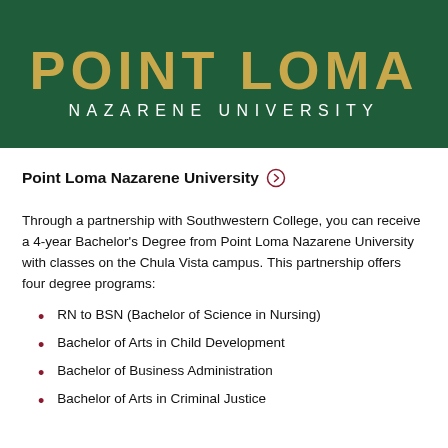[Figure (logo): Point Loma Nazarene University logo on dark green background with gold 'POINT LOMA' text and white 'NAZARENE UNIVERSITY' text]
Point Loma Nazarene University ⊙
Through a partnership with Southwestern College, you can receive a 4-year Bachelor's Degree from Point Loma Nazarene University with classes on the Chula Vista campus. This partnership offers four degree programs:
RN to BSN (Bachelor of Science in Nursing)
Bachelor of Arts in Child Development
Bachelor of Business Administration
Bachelor of Arts in Criminal Justice